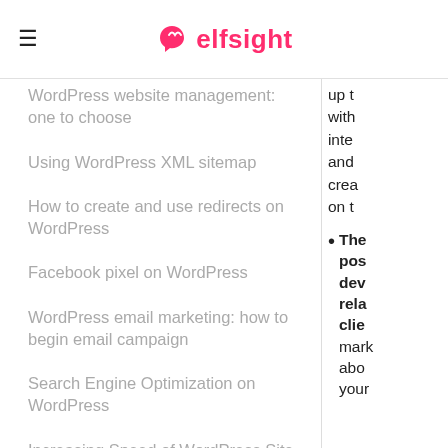elfsight
WordPress website management: one to choose
Using WordPress XML sitemap
How to create and use redirects on WordPress
Facebook pixel on WordPress
WordPress email marketing: how to begin email campaign
Search Engine Optimization on WordPress
Increasing Speed of WordPress Site
up t with inte and crea on t
The pos dev rela clie mark abo your